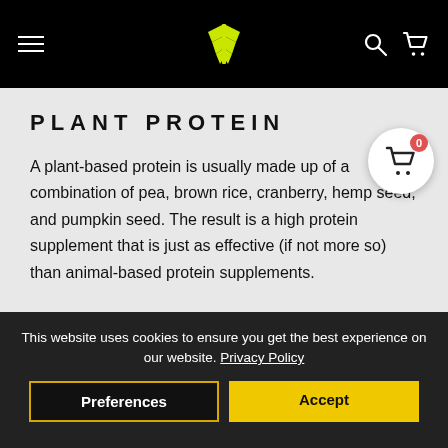Navigation header with hamburger menu, logo, search and cart icons
PLANT PROTEIN
A plant-based protein is usually made up of a combination of pea, brown rice, cranberry, hemp seed, and pumpkin seed. The result is a high protein supplement that is just as effective (if not more so) than animal-based protein supplements.
This website uses cookies to ensure you get the best experience on our website. Privacy Policy
Preferences
Accept